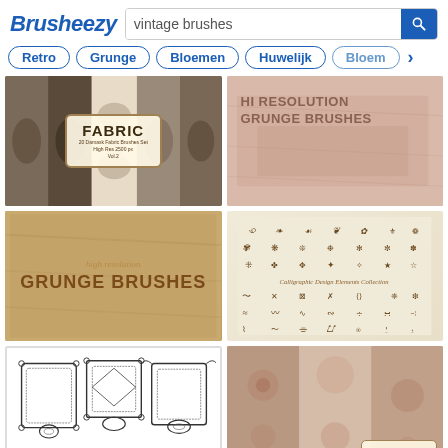Brusheezy — vintage brushes [search]
Retro
Grunge
Bloemen
Huwelijk
Bloem
[Figure (photo): Fabric damask brush set thumbnail with centered label reading FABRIC]
[Figure (photo): Hi Resolution Grunge Brushes thumbnail on pink-beige textured background]
[Figure (photo): High resolution Grunge Brushes on kraft paper background]
[Figure (photo): Calligraphic Design Elements Collection on aged paper background]
[Figure (photo): Calligraphic Frame Brushes Collection on white background with ornate frames]
[Figure (photo): Floral fabric brush set thumbnail with FABRIC label]